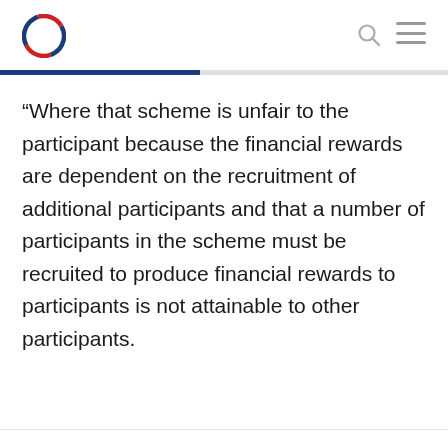“Where that scheme is unfair to the participant because the financial rewards are dependent on the recruitment of additional participants and that a number of participants in the scheme must be recruited to produce financial rewards to participants is not attainable to other participants.